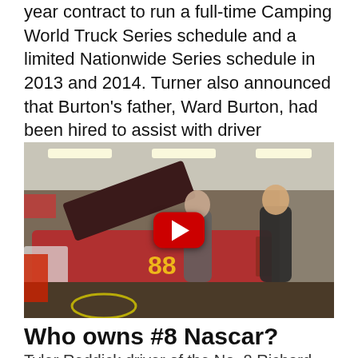year contract to run a full-time Camping World Truck Series schedule and a limited Nationwide Series schedule in 2013 and 2014. Turner also announced that Burton's father, Ward Burton, had been hired to assist with driver development.
[Figure (screenshot): YouTube video thumbnail showing two men standing in a racing garage next to a dark red NASCAR #88 race car with hood open. A red YouTube play button is overlaid in the center.]
Who owns #8 Nascar?
Tyler Reddick driver of the No. 8 Richard...